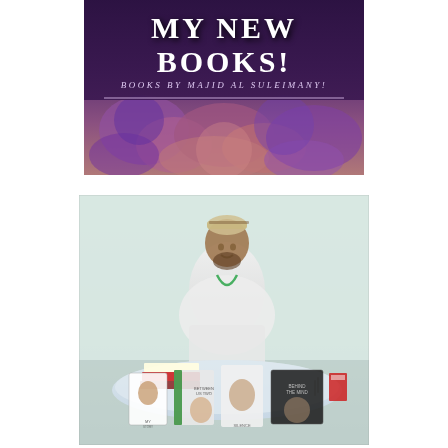[Figure (photo): Book cover image with dark purple/mauve background showing text 'MY NEW BOOKS!' and subtitle 'Books By Majid Al Suleimany!' with an abstract floral/coral background in purple and pink tones]
[Figure (photo): Photograph of a man in white traditional Omani dress (dishdasha) and embroidered cap (kuma) standing behind a round table covered with a light blue/white cloth, displaying multiple books. The setting appears to be an indoor book fair or exhibition.]